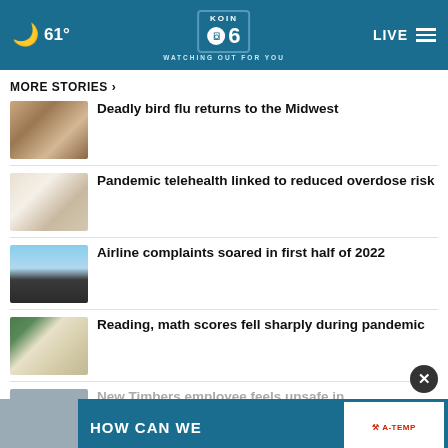61° KOIN 6 CBS WATCHING OUT FOR YOU LIVE
MORE STORIES >
Deadly bird flu returns to the Midwest
Pandemic telehealth linked to reduced overdose risk
Airline complaints soared in first half of 2022
Reading, math scores fell sharply during pandemic
New Timbers employee feels unsafe in
HOW CAN WE
[Figure (logo): A-TEMP logo on white background]